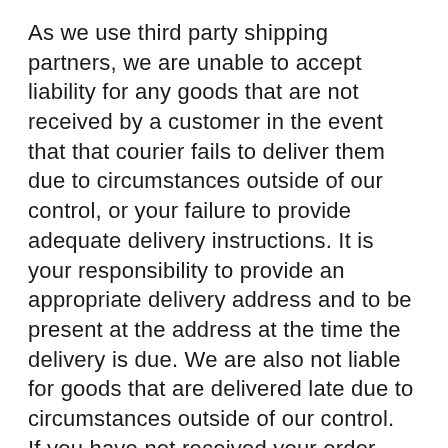As we use third party shipping partners, we are unable to accept liability for any goods that are not received by a customer in the event that that courier fails to deliver them due to circumstances outside of our control, or your failure to provide adequate delivery instructions. It is your responsibility to provide an appropriate delivery address and to be present at the address at the time the delivery is due. We are also not liable for goods that are delivered late due to circumstances outside of our control.
If you have not received your order within the agreed timescale, and before contacting us, please visit the courier website and enter the tracking code provided with your shipment confirmation to view your delivery status.
RETURNS / REFUNDS
By law you have 14 days to return an item and receive a refund as long as the item is unopened